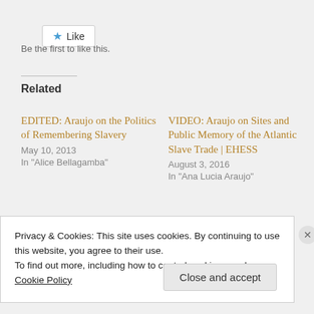[Figure (other): Like button with blue star icon and 'Like' text]
Be the first to like this.
Related
EDITED: Araujo on the Politics of Remembering Slavery
May 10, 2013
In "Alice Bellagamba"
VIDEO: Araujo on Sites and Public Memory of the Atlantic Slave Trade | EHESS
August 3, 2016
In "Ana Lucia Araujo"
BOOK: Araujo on the Public Memory of...
Privacy & Cookies: This site uses cookies. By continuing to use this website, you agree to their use.
To find out more, including how to control cookies, see here:
Cookie Policy
Close and accept